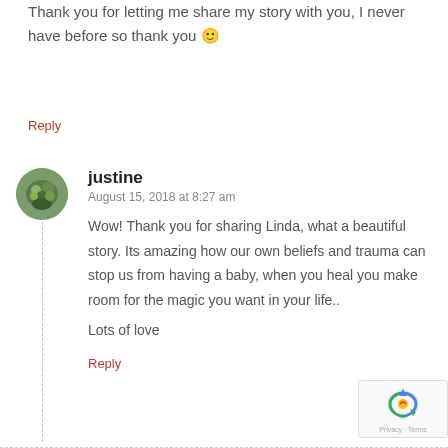Thank you for letting me share my story with you, I never have before so thank you 🙂
Reply
justine
August 15, 2018 at 8:27 am
Wow! Thank you for sharing Linda, what a beautiful story. Its amazing how our own beliefs and trauma can stop us from having a baby, when you heal you make room for the magic you want in your life..
Lots of love
Reply